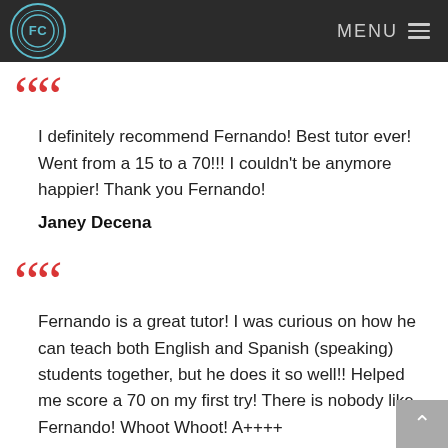FC | MENU
I definitely recommend Fernando! Best tutor ever! Went from a 15 to a 70!!! I couldn't be anymore happier! Thank you Fernando!
Janey Decena
Fernando is a great tutor! I was curious on how he can teach both English and Spanish (speaking) students together, but he does it so well!! Helped me score a 70 on my first try! There is nobody like Fernando! Whoot Whoot! A++++
Markoosia Kamri